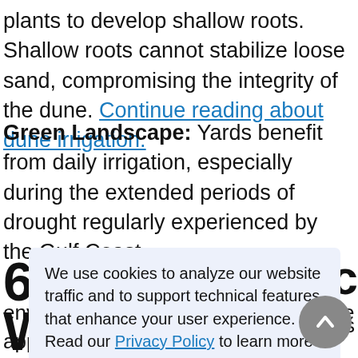plants to develop shallow roots. Shallow roots cannot stabilize loose sand, compromising the integrity of the dune. Continue reading about dune irrigation.
Green Landscape: Yards benefit from daily irrigation, especially during the extended periods of drought regularly experienced by the Gulf Coast.
6 -specific W A plants and trees ne izer is a ch . pollute the environment. Regardless of where the application is
We use cookies to analyze our website traffic and to support technical features that enhance your user experience. Read our Privacy Policy to learn more about how we use cookies.